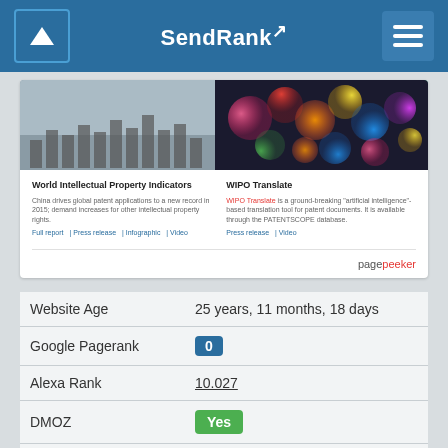SendRank
[Figure (screenshot): Screenshot of WIPO website showing two cards: 'World Intellectual Property Indicators' and 'WIPO Translate', with a pagepeeker.com watermark]
Website Age: 25 years, 11 months, 18 days
Google Pagerank: 0
Alexa Rank: 10.027
DMOZ: Yes
Country: Switzerland
IP Address: 193.5.93.80
Google Safe: YES